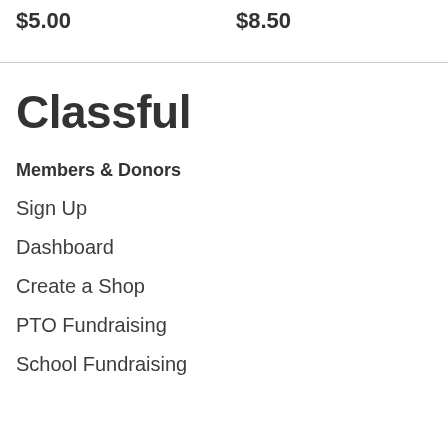$5.00
$8.50
Classful
Members & Donors
Sign Up
Dashboard
Create a Shop
PTO Fundraising
School Fundraising